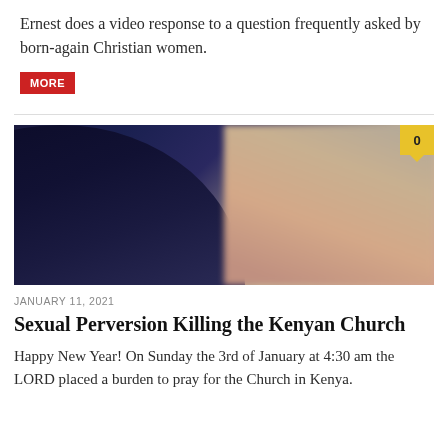Ernest does a video response to a question frequently asked by born-again Christian women.
MORE
[Figure (photo): A dark moody photograph showing a person in profile with glasses on the left, and a blurred figure on the right with warm tones. A yellow comment badge showing '0' is in the top-right corner.]
JANUARY 11, 2021
Sexual Perversion Killing the Kenyan Church
Happy New Year! On Sunday the 3rd of January at 4:30 am the LORD placed a burden to pray for the Church in Kenya.